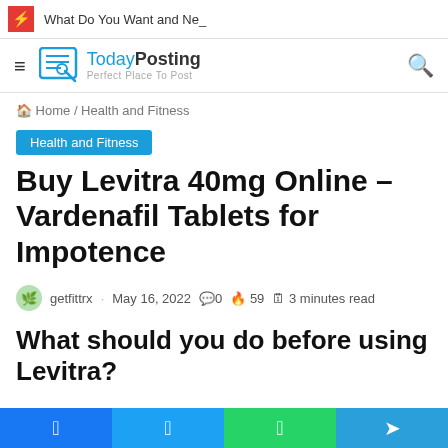What Do You Want and Ne_
[Figure (logo): TodayPosting logo with text 'Today Posting - Perfect Place To Post']
Home / Health and Fitness
Health and Fitness
Buy Levitra 40mg Online – Vardenafil Tablets for Impotence
getfittrx · May 16, 2022  0  59  3 minutes read
What should you do before using Levitra?